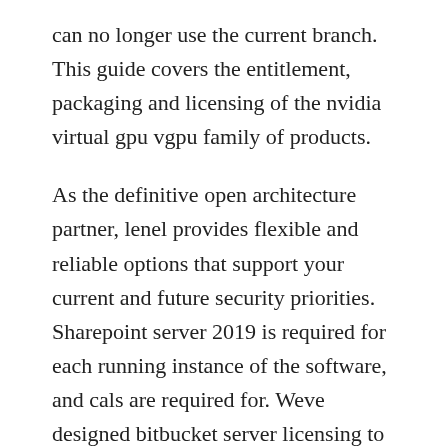can no longer use the current branch. This guide covers the entitlement, packaging and licensing of the nvidia virtual gpu vgpu family of products.
As the definitive open architecture partner, lenel provides flexible and reliable options that support your current and future security priorities. Sharepoint server 2019 is required for each running instance of the software, and cals are required for. Weve designed bitbucket server licensing to be simple, upfront and equitable. If you already hold an sap contract